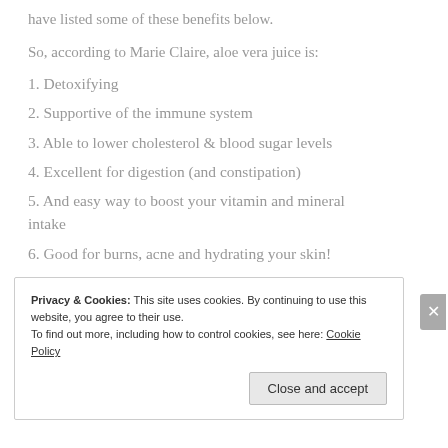have listed some of these benefits below.
So, according to Marie Claire, aloe vera juice is:
1. Detoxifying
2. Supportive of the immune system
3. Able to lower cholesterol & blood sugar levels
4. Excellent for digestion (and constipation)
5. And easy way to boost your vitamin and mineral intake
6. Good for burns, acne and hydrating your skin!
Privacy & Cookies: This site uses cookies. By continuing to use this website, you agree to their use.
To find out more, including how to control cookies, see here: Cookie Policy
[Close and accept]